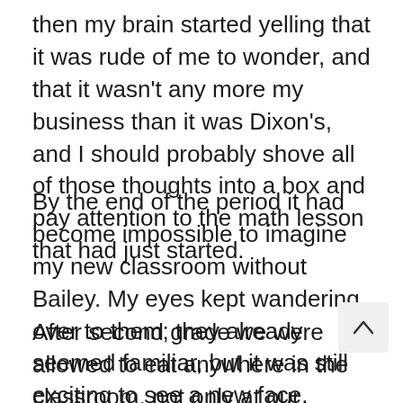then my brain started yelling that it was rude of me to wonder, and that it wasn't any more my business than it was Dixon's, and I should probably shove all of those thoughts into a box and pay attention to the math lesson that had just started.
By the end of the period it had become impossible to imagine my new classroom without Bailey. My eyes kept wandering over to them; they already seemed familiar, but it was still exciting to see a new face.
After second grade we were allowed to eat anywhere in the classroom, not only at our desks. I weighed my options and decided on the corner that had bookshelves, a softer rug, and pillows. A few kids stayed at their desks, but everyone else